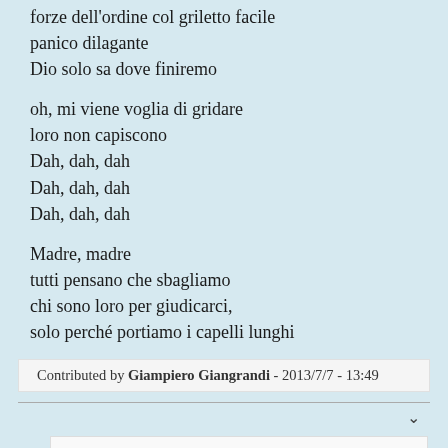forze dell'ordine col griletto facile
panico dilagante
Dio solo sa dove finiremo
oh, mi viene voglia di gridare
loro non capiscono
Dah, dah, dah
Dah, dah, dah
Dah, dah, dah
Madre, madre
tutti pensano che sbagliamo
chi sono loro per giudicarci,
solo perché portiamo i capelli lunghi
Contributed by Giampiero Giangrandi - 2013/7/7 - 13:49
Grazie di cuore Gianpietro, questo è tempo speso bene !